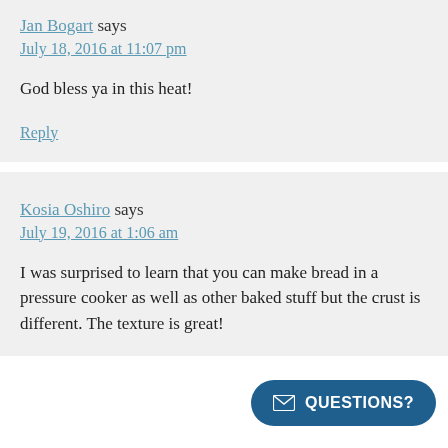Jan Bogart says
July 18, 2016 at 11:07 pm
God bless ya in this heat!
Reply
Kosia Oshiro says
July 19, 2016 at 1:06 am
I was surprised to learn that you can make bread in a pressure cooker as well as other baked stuff but the crust is different. The texture is great!